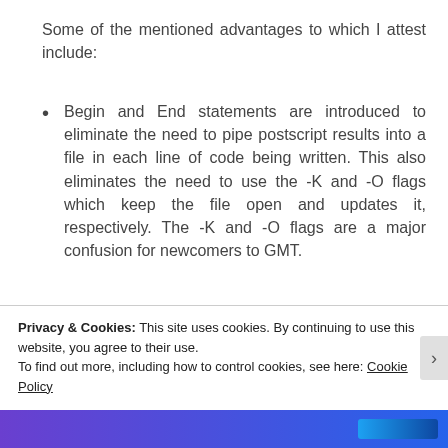Some of the mentioned advantages to which I attest include:
Begin and End statements are introduced to eliminate the need to pipe postscript results into a file in each line of code being written. This also eliminates the need to use the -K and -O flags which keep the file open and updates it, respectively. The -K and -O flags are a major confusion for newcomers to GMT.
temporary files are created under the
Privacy & Cookies: This site uses cookies. By continuing to use this website, you agree to their use.
To find out more, including how to control cookies, see here: Cookie Policy
Close and accept